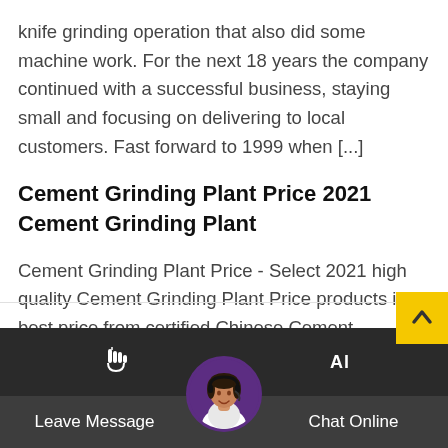knife grinding operation that also did some machine work. For the next 18 years the company continued with a successful business, staying small and focusing on delivering to local customers. Fast forward to 1999 when [...]
Cement Grinding Plant Price 2021 Cement Grinding Plant
Cement Grinding Plant Price - Select 2021 high quality Cement Grinding Plant Price products in best price from certified Chinese Cement Production Plant manufacturers, Cement Mixing Plant suppliers, wholesalers and factory on Made-in-China.com
Leave Message | Chat Online